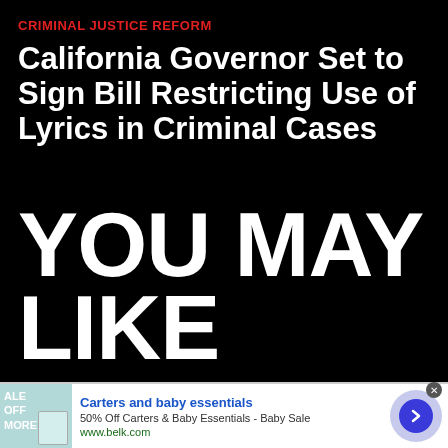CRIMINAL JUSTICE REFORM
California Governor Set to Sign Bill Restricting Use of Lyrics in Criminal Cases
YOU MAY LIKE
[Figure (infographic): Advertisement for Carters and baby essentials from belk.com with image, text, and navigation arrow]
Carters and baby essentials
50% Off Carters & Baby Essentials - Baby Sale
www.belk.com